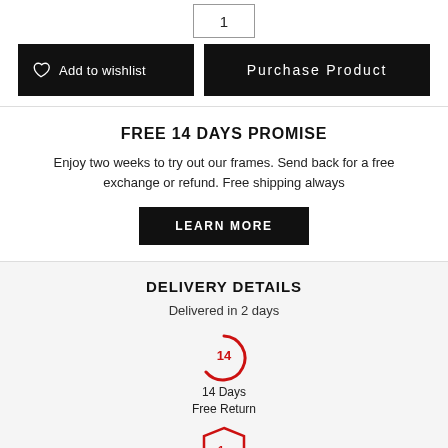[Figure (other): Quantity input box showing '1']
Add to wishlist
Purchase Product
FREE 14 DAYS PROMISE
Enjoy two weeks to try out our frames. Send back for a free exchange or refund. Free shipping always
LEARN MORE
DELIVERY DETAILS
Delivered in 2 days
[Figure (other): Circular badge with number 14 in red]
14 Days
Free Return
[Figure (other): Shield badge with '1y' text in red]
1Y